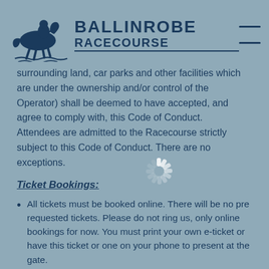BALLINROBE RACECOURSE
surrounding land, car parks and other facilities which are under the ownership and/or control of the Operator) shall be deemed to have accepted, and agree to comply with, this Code of Conduct. Attendees are admitted to the Racecourse strictly subject to this Code of Conduct. There are no exceptions.
Ticket Bookings:
All tickets must be booked online. There will be no pre requested tickets. Please do not ring us, only online bookings for now. You must print your own e-ticket or have this ticket or one on your phone to present at the gate.
The name of the person attending must be on your ticket. The ticket...